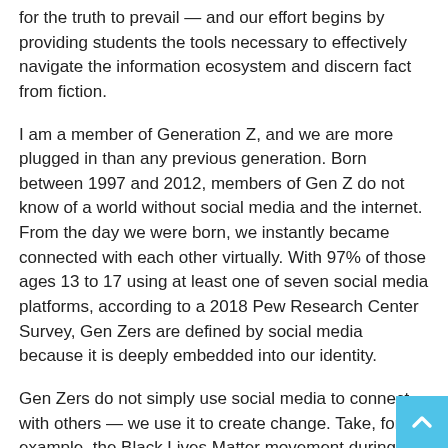for the truth to prevail — and our effort begins by providing students the tools necessary to effectively navigate the information ecosystem and discern fact from fiction.
I am a member of Generation Z, and we are more plugged in than any previous generation. Born between 1997 and 2012, members of Gen Z do not know of a world without social media and the internet. From the day we were born, we instantly became connected with each other virtually. With 97% of those ages 13 to 17 using at least one of seven social media platforms, according to a 2018 Pew Research Center Survey, Gen Zers are defined by social media because it is deeply embedded into our identity.
Gen Zers do not simply use social media to connect with others — we use it to create change. Take, for example, the Black Lives Matter movement during the COVID-19 pandemic in 2020. Social media became an essential tool for young